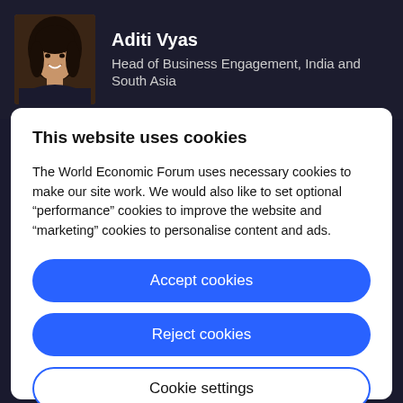[Figure (photo): Profile photo of Aditi Vyas, a woman with dark hair, smiling, wearing a dark outfit, against a dark background]
Aditi Vyas
Head of Business Engagement, India and South Asia
This website uses cookies
The World Economic Forum uses necessary cookies to make our site work. We would also like to set optional “performance” cookies to improve the website and “marketing” cookies to personalise content and ads.
Accept cookies
Reject cookies
Cookie settings